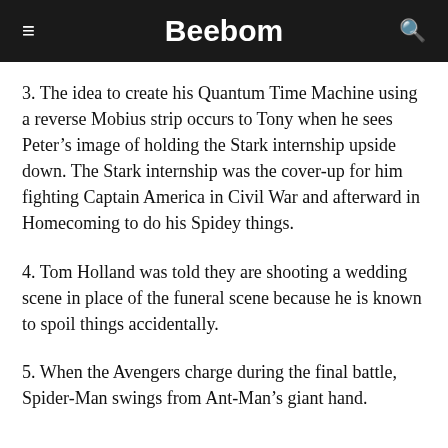Beebom
3. The idea to create his Quantum Time Machine using a reverse Mobius strip occurs to Tony when he sees Peter’s image of holding the Stark internship upside down. The Stark internship was the cover-up for him fighting Captain America in Civil War and afterward in Homecoming to do his Spidey things.
4. Tom Holland was told they are shooting a wedding scene in place of the funeral scene because he is known to spoil things accidentally.
5. When the Avengers charge during the final battle, Spider-Man swings from Ant-Man’s giant hand.